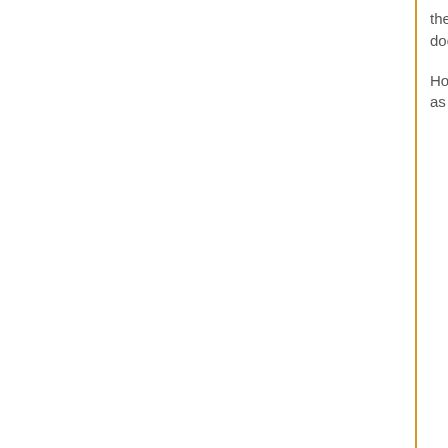the text. This extremely useful when copying text from a document.
Hovering your mouse over any of the icons will give as per the example on the right.